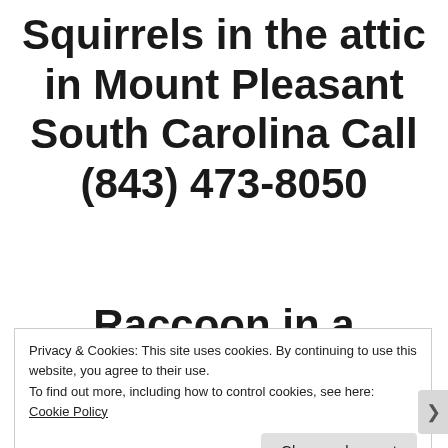Squirrels in the attic in Mount Pleasant South Carolina Call (843) 473-8050
Raccoon in a
Privacy & Cookies: This site uses cookies. By continuing to use this website, you agree to their use.
To find out more, including how to control cookies, see here: Cookie Policy